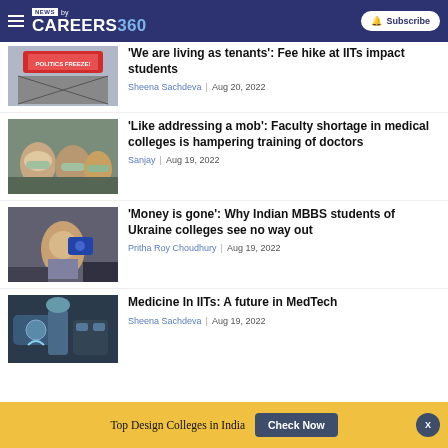NEWS by CAREERS 360 | Subscribe
[Figure (screenshot): Partially visible article image with protest signage]
'We are living as tenants': Fee hike at IITs impact students
Sheena Sachdeva | Aug 20, 2022
[Figure (photo): Group of students wearing masks]
'Like addressing a mob': Faculty shortage in medical colleges is hampering training of doctors
Sanjay | Aug 19, 2022
[Figure (photo): Woman speaking to crowd at airport or station]
'Money is gone': Why Indian MBBS students of Ukraine colleges see no way out
Pritha Roy Choudhury | Aug 19, 2022
[Figure (photo): Medical/lab equipment being handled with gloves]
Medicine In IITs: A future in MedTech
Sheena Sachdeva | Aug 19, 2022
Top Design Colleges in India  Check Now